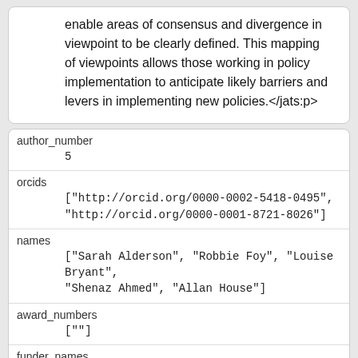enable areas of consensus and divergence in viewpoint to be clearly defined. This mapping of viewpoints allows those working in policy implementation to anticipate likely barriers and levers in implementing new policies.</jats:p>
author_number
5
orcids
["http://orcid.org/0000-0002-5418-0495", "http://orcid.org/0000-0001-8721-8026"]
names
["Sarah Alderson", "Robbie Foy", "Louise Bryant", "Shenaz Ahmed", "Allan House"]
award_numbers
[""]
funder_names
[""]
funder_dois
[""]